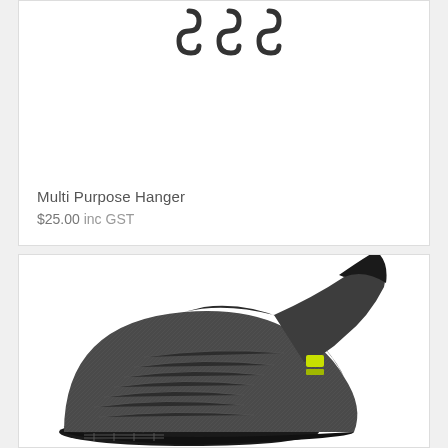[Figure (photo): Three dark metal S-shaped hooks/hangers against a white background, partially cropped at top]
Multi Purpose Hanger
$25.00 inc GST
[Figure (photo): A black and grey heathered neoprene wetsuit boot/bootie with yellow-green accent, showing the sole and upper portion, photographed against a white background]